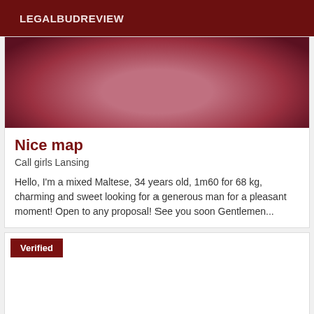LEGALBUDREVIEW
[Figure (photo): Cropped photo showing pink/red clothing or fabric against a dark background]
Nice map
Call girls Lansing
Hello, I'm a mixed Maltese, 34 years old, 1m60 for 68 kg, charming and sweet looking for a generous man for a pleasant moment! Open to any proposal! See you soon Gentlemen...
Verified